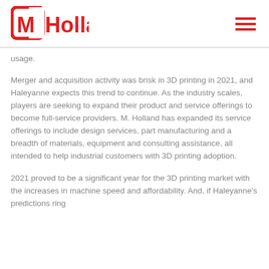MHolland
usage.
Merger and acquisition activity was brisk in 3D printing in 2021, and Haleyanne expects this trend to continue. As the industry scales, players are seeking to expand their product and service offerings to become full-service providers. M. Holland has expanded its service offerings to include design services, part manufacturing and a breadth of materials, equipment and consulting assistance, all intended to help industrial customers with 3D printing adoption.
2021 proved to be a significant year for the 3D printing market with the increases in machine speed and affordability. And, if Haleyanne's predictions ring